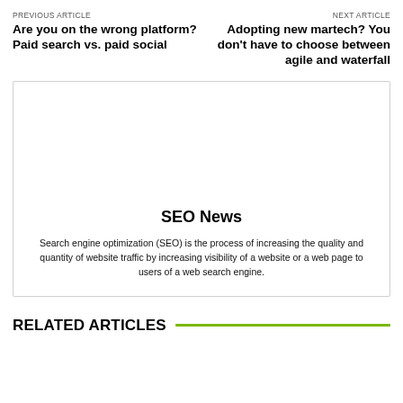PREVIOUS ARTICLE
Are you on the wrong platform? Paid search vs. paid social
NEXT ARTICLE
Adopting new martech? You don't have to choose between agile and waterfall
[Figure (other): Advertisement box with SEO News title and description text]
SEO News
Search engine optimization (SEO) is the process of increasing the quality and quantity of website traffic by increasing visibility of a website or a web page to users of a web search engine.
RELATED ARTICLES